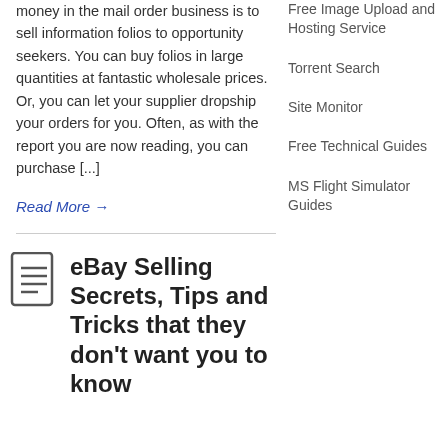money in the mail order business is to sell information folios to opportunity seekers. You can buy folios in large quantities at fantastic wholesale prices. Or, you can let your supplier dropship your orders for you. Often, as with the report you are now reading, you can purchase [...]
Read More →
Free Image Upload and Hosting Service
Torrent Search
Site Monitor
Free Technical Guides
MS Flight Simulator Guides
eBay Selling Secrets, Tips and Tricks that they don't want you to know